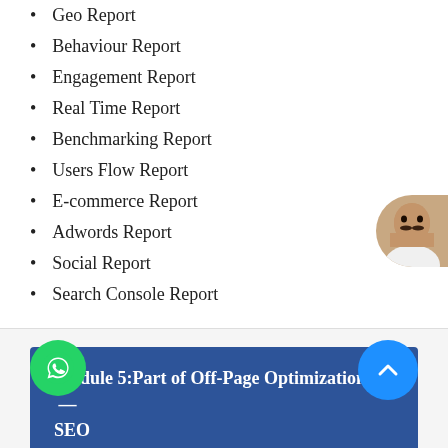Geo Report
Behaviour Report
Engagement Report
Real Time Report
Benchmarking Report
Users Flow Report
E-commerce Report
Adwords Report
Social Report
Search Console Report
Module 5:Part of Off-Page Optimization in — SEO
irectory Submissions.
Social Bookmarking.
Slide share Submission.